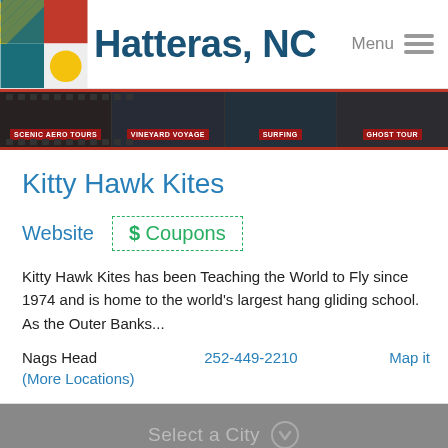Hatteras, NC
[Figure (screenshot): Navigation filmstrip with four sections: Scenic Aero Tours, Vineyard Voyage, Surfing, Ghost Tour]
Kitty Hawk Kites
Website   $ Coupons
Kitty Hawk Kites has been Teaching the World to Fly since 1974 and is home to the world's largest hang gliding school. As the Outer Banks...
Nags Head   252-449-2210   Map it
(More Locations)
Select a City
About Us